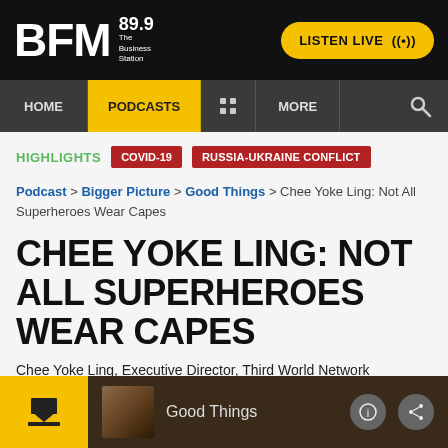[Figure (screenshot): BFM 89.9 The Business Station website screenshot showing a podcast page header with navigation bar, highlights tags, breadcrumb, article title, and audio player bar.]
BFM 89.9 The Business Station — LISTEN LIVE
HOME | PODCASTS | MORE
HIGHLIGHTS   COVID-19   RUSSIA-UKRAINE CONFLICT
Podcast > Bigger Picture > Good Things > Chee Yoke Ling: Not All Superheroes Wear Capes
CHEE YOKE LING: NOT ALL SUPERHEROES WEAR CAPES
Chee Yoke Ling, Executive Director, Third World Network
11-Mar-22 15:00
Good Things